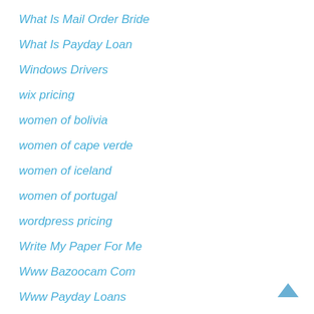What Is Mail Order Bride
What Is Payday Loan
Windows Drivers
wix pricing
women of bolivia
women of cape verde
women of iceland
women of portugal
wordpress pricing
Write My Paper For Me
Www Bazoocam Com
Www Payday Loans
Www Russianbrides Com
Www.Asianbabecams.Com